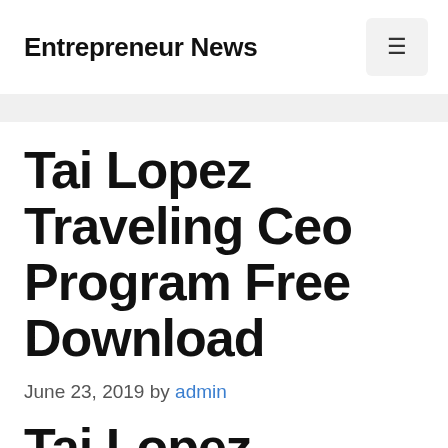Entrepreneur News
Tai Lopez Traveling Ceo Program Free Download
June 23, 2019 by admin
Tai Lopez Traveling